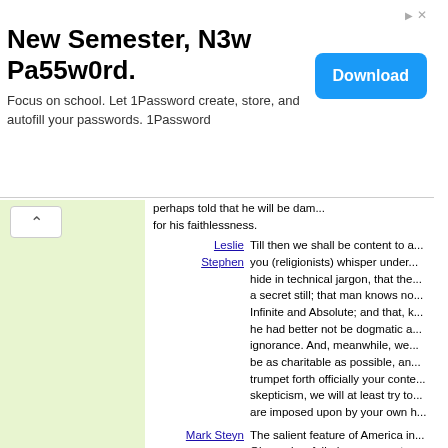[Figure (other): Advertisement banner: '1Password - New Semester, N3w Pa55w0rd. Focus on school. Let 1Password create, store, and autofill your passwords. 1Password' with a blue Download button]
perhaps told that he will be dam... for his faithlessness.
Leslie Stephen — Till then we shall be content to a... you (religionists) whisper under... hide in technical jargon, that the... a secret still; that man knows no... Infinite and Absolute; and that, k... he had better not be dogmatic a... ignorance. And, meanwhile, we... be as charitable as possible, an... trumpet forth officially your conte... skepticism, we will at least try to... are imposed upon by your own h...
Mark Steyn — The salient feature of America in... Obama is a failed government c... committed to living beyond its m... citizenry too many of whom are... along.
Justice Joseph Story — If aliens might be admitted indis... enjoy all the rights of citizens at... state, the Union might itself be e... influx of foreigners, hostile to its... ignorant of its powers, and incap...